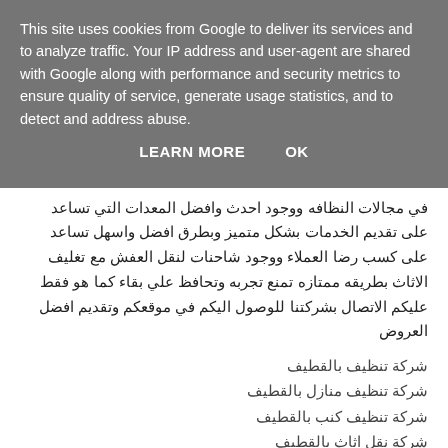This site uses cookies from Google to deliver its services and to analyze traffic. Your IP address and user-agent are shared with Google along with performance and security metrics to ensure quality of service, generate usage statistics, and to detect and address abuse.
LEARN MORE    OK
في مجالات النظافه ووجود احدث وافضل المعدات التي تساعد على تقديم الخدمات بشكل متميز وبطرق افضل واسهل تساعد على كسب رضا العملاء ووجود شاحنات لنقل العفش مع تغليف الاثاث بطريقه ممتازه تمنع تجربه وتحافظ علي بقاء كما هو فقط عليكم الاتصال بشركتنا للوصول اليكم في موقعكم وتقديم افضل العروض
شركة تنظيف بالقطيف
شركة تنظيف منازل بالقطيف
شركة تنظيف كنب بالقطيف
شركة نقل اثاث بالقطيف
شركة مكافحة حشرات بالقطيف
شركة تسليك مجاري بالقطيف
ونذكر عملائنا ان لدينا عروض خاصه تميزنا عن الشركات الاخري وخصومات هائله تصل الي 30% فقط عليكم بالاتصال
Reply